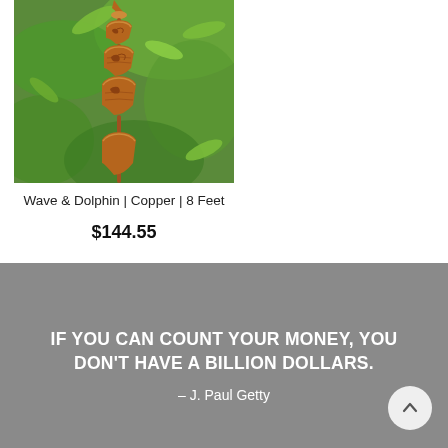[Figure (photo): Photo of a copper Wave & Dolphin rain chain hanging from a hook against a green tree/leaf background]
Wave & Dolphin | Copper | 8 Feet
$144.55
IF YOU CAN COUNT YOUR MONEY, YOU DON'T HAVE A BILLION DOLLARS. – J. Paul Getty